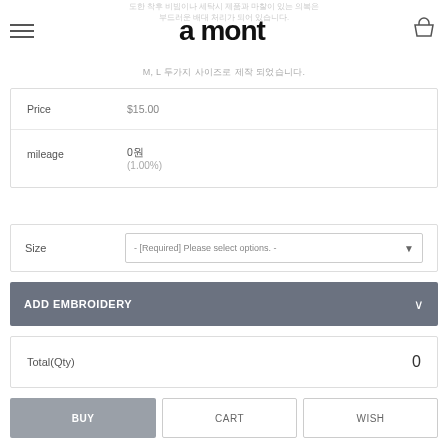a mont
도한 착후 비빔이나 세탁시 제품과 마찰이 있는 의복은 부드러운 배대 처리가 되어 있습니다.
M, L 두가지 사이즈로 제작 되었습니다.
|  |  |
| --- | --- |
| Price | $15.00 |
| mileage | 0원
(1.00%) |
Size  - [Required] Please select options. -
ADD EMBROIDERY
| Total(Qty) | 0 |
| --- | --- |
BUY
CART
WISH